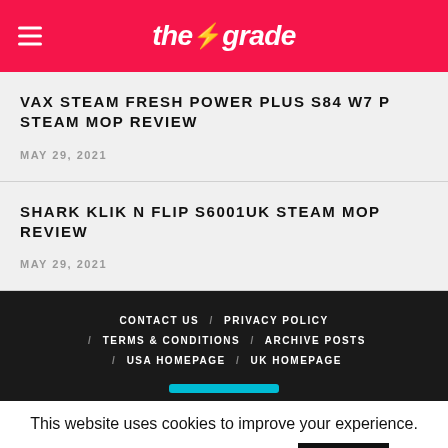the grade
VAX STEAM FRESH POWER PLUS S84 W7 P STEAM MOP REVIEW
MAY 29, 2021
SHARK KLIK N FLIP S6001UK STEAM MOP REVIEW
MAY 29, 2021
CONTACT US / PRIVACY POLICY / TERMS & CONDITIONS / ARCHIVE POSTS / USA HOMEPAGE / UK HOMEPAGE
This website uses cookies to improve your experience. Click here for more information.